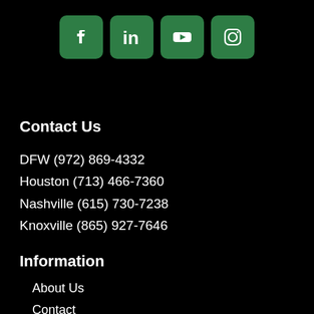[Figure (logo): Four social media icons (Facebook, LinkedIn, YouTube, Instagram) in green rounded square buttons]
Contact Us
DFW (972) 869-4332
Houston (713) 466-7360
Nashville (615) 730-7238
Knoxville (865) 927-7646
Information
About Us
Contact